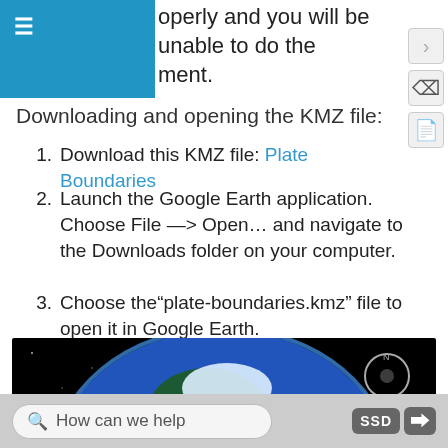≡
operly and you will be unable to do the ment.
Downloading and opening the KMZ file:
1. Download this KMZ file: Plate Boundaries
2. Launch the Google Earth application. Choose File —> Open… and navigate to the Downloads folder on your computer.
3. Choose the"plate-boundaries.kmz" file to open it in Google Earth.
[Figure (screenshot): Screenshot of Google Earth application showing a globe with plate boundaries highlighted in yellow/green lines on a black space background, with navigation controls on the right side.]
How can we help    SSD